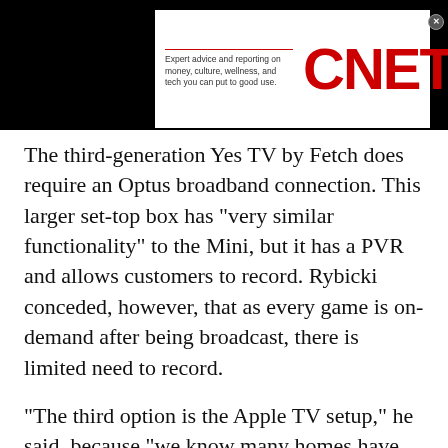Expert advice and reporting on money, culture, wellness, and tech you can put to good use. CNET
The third-generation Yes TV by Fetch does require an Optus broadband connection. This larger set-top box has "very similar functionality" to the Mini, but it has a PVR and allows customers to record. Rybicki conceded, however, that as every game is on-demand after being broadcast, there is limited need to record.
"The third option is the Apple TV setup," he said, because "we know many homes have that in their setup in the living room." The Apple TV option has the same functionality as the app, with users only needing to log in once.